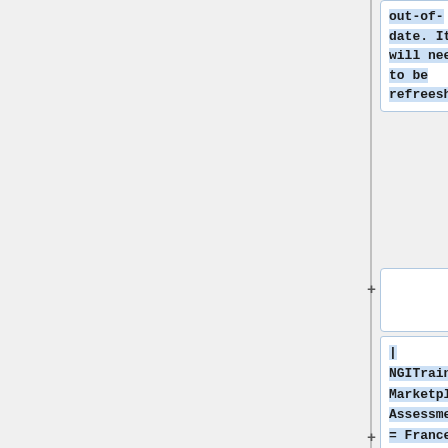out-of-date. It will need to be refreeshed.
+
| NGITraining_Marketplace_Assessment = France Grilles do not use the training market place but its own training web site. Maintening th
+